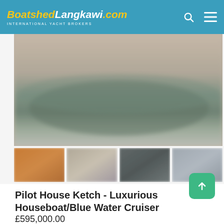BoatshedLangkawi.com INTERNATIONAL YACHT BROKERS
[Figure (photo): Blurred aerial or side photo of a large houseboat/ketch on water]
[Figure (photo): Four thumbnail photos of the boat interior and exterior]
Pilot House Ketch - Luxurious Houseboat/Blue Water Cruiser
£595,000.00